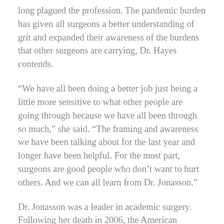long plagued the profession. The pandemic burden has given all surgeons a better understanding of grit and expanded their awareness of the burdens that other surgeons are carrying, Dr. Hayes contends.
“We have all been doing a better job just being a little more sensitive to what other people are going through because we have all been through so much,” she said. “The framing and awareness we have been talking about for the last year and longer have been helpful. For the most part, surgeons are good people who don’t want to hurt others. And we can all learn from Dr. Jonasson.”
Dr. Jonasson was a leader in academic surgery. Following her death in 2006, the American College of Surgeons Women in Surgery Committee (WiSC), and friends and colleagues of Dr. Jonasson established this lecture as a testimony to leadership and education in surgery, and as a reflection of the capacity of women to reach academic pinnacles. It is sponsored by the